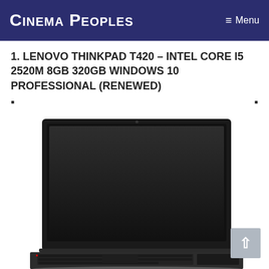Cinema Peoples   ≡ Menu
1. LENOVO THINKPAD T420 – INTEL CORE I5 2520M 8GB 320GB WINDOWS 10 PROFESSIONAL (RENEWED)
▪
[Figure (photo): Lenovo ThinkPad T420 laptop open, showing the black screen and keyboard, viewed from a slightly elevated front angle.]